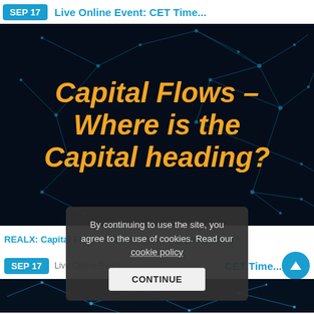SEP 17 | Live Online Event: CET Time...
[Figure (illustration): Dark navy background with blue geometric network/polygon lines and nodes. Large orange italic bold text reads: Capital Flows – Where is the Capital heading?]
REALX: Capital Flows – Where is the Capital heading?
SEP 17 | Live Online Event: CET Time...
[Figure (illustration): Partial dark background with blue geometric network lines, bottom of page.]
By continuing to use the site, you agree to the use of cookies. Read our cookie policy
CONTINUE